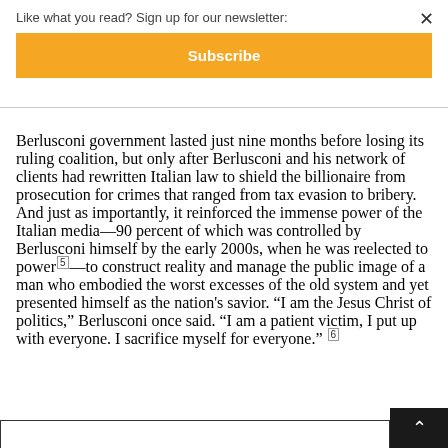Like what you read? Sign up for our newsletter:
Subscribe
Berlusconi government lasted just nine months before losing its ruling coalition, but only after Berlusconi and his network of clients had rewritten Italian law to shield the billionaire from prosecution for crimes that ranged from tax evasion to bribery. And just as importantly, it reinforced the immense power of the Italian media—90 percent of which was controlled by Berlusconi himself by the early 2000s, when he was reelected to power5—to construct reality and manage the public image of a man who embodied the worst excesses of the old system and yet presented himself as the nation's savior. "I am the Jesus Christ of politics," Berlusconi once said. "I am a patient victim, I put up with everyone. I sacrifice myself for everyone." 6